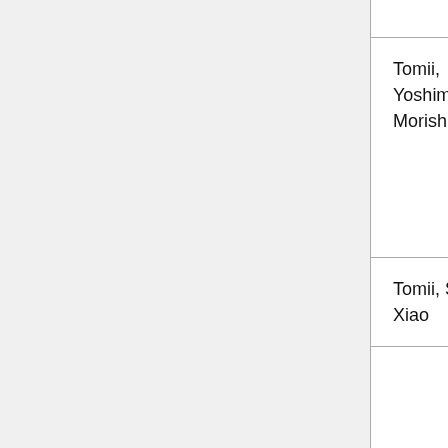| Author | Year | Source |
| --- | --- | --- |
|  |  |  |
| Tomii, Yoshimura, & Morishita | 1977 | Proceedings of the International Colloquium Stability of Structures under Static and Dynamic Loads |
| Tomii, Sakino, & Xiao | 1988 | Japan Concrete Institute |
|  |  | Proceedings of the International Specialty... |